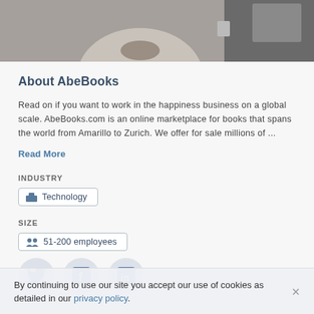[Figure (photo): Cropped photo at top showing a person in a light jacket with hands clasped, office/monitor visible in background]
About AbeBooks
Read on if you want to work in the happiness business on a global scale. AbeBooks.com is an online marketplace for books that spans the world from Amarillo to Zurich. We offer for sale millions of ...
Read More
INDUSTRY
Technology
SIZE
51-200 employees
[Figure (illustration): Social media icons row: Twitter bird, Facebook f, LinkedIn in]
By continuing to use our site you accept our use of cookies as detailed in our privacy policy.